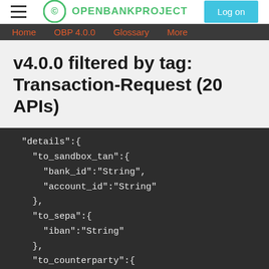OPENBANKPROJECT | Log on
Home   OBP 4.0.0   Glossary   More
v4.0.0 filtered by tag: Transaction-Request (20 APIs)
"details":{
  "to_sandbox_tan":{
    "bank_id":"String",
    "account_id":"String"
  },
  "to_sepa":{
    "iban":"String"
  },
  "to_counterparty":{